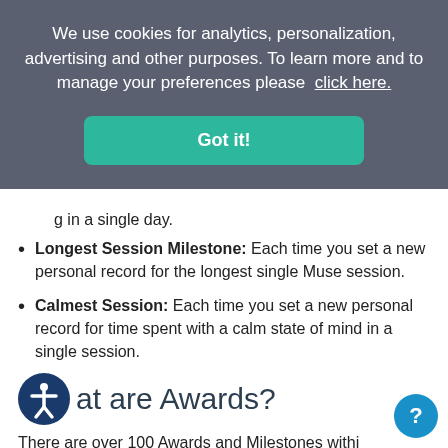We use cookies for analytics, personalization, advertising and other purposes. To learn more and to manage your preferences please click here.
Got it!
g in a single day.
Longest Session Milestone: Each time you set a new personal record for the longest single Muse session.
Calmest Session: Each time you set a new personal record for time spent with a calm state of mind in a single session.
What are Awards?
There are over 100 Awards and Milestones within the Muse application. Below is more information about